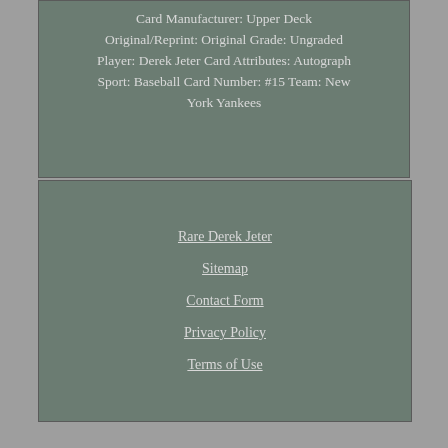Card Manufacturer: Upper Deck Original/Reprint: Original Grade: Ungraded Player: Derek Jeter Card Attributes: Autograph Sport: Baseball Card Number: #15 Team: New York Yankees
Rare Derek Jeter
Sitemap
Contact Form
Privacy Policy
Terms of Use